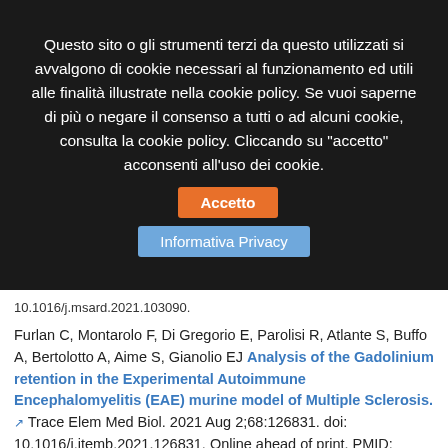Questo sito o gli strumenti terzi da questo utilizzati si avvalgono di cookie necessari al funzionamento ed utili alle finalità illustrate nella cookie policy. Se vuoi saperne di più o negare il consenso a tutti o ad alcuni cookie, consulta la cookie policy. Cliccando su "accetto" acconsenti all'uso dei cookie.  Accetto
Informativa Privacy
10.1016/j.msard.2021.103090.
Furlan C, Montarolo F, Di Gregorio E, Parolisi R, Atlante S, Buffo A, Bertolotto A, Aime S, Gianolio EJ Analysis of the Gadolinium retention in the Experimental Autoimmune Encephalomyelitis (EAE) murine model of Multiple Sclerosis. Trace Elem Med Biol. 2021 Aug 2;68:126831. doi: 10.1016/j.jtemb.2021.126831. Online ahead of print. PMID: 34364067